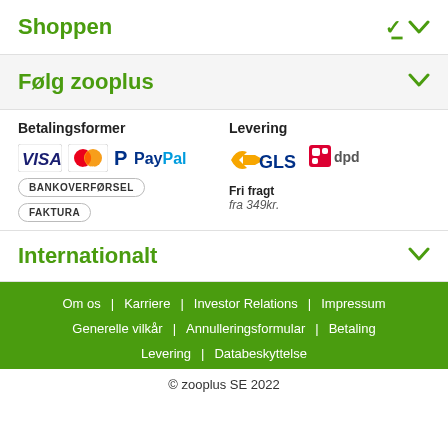Shoppen
Følg zooplus
Betalingsformer
[Figure (logo): Payment method logos: VISA, MasterCard, PayPal, Bankoverførsel, Faktura]
Levering
[Figure (logo): Delivery logos: GLS, dpd. Fri fragt fra 349kr.]
Internationalt
Om os | Karriere | Investor Relations | Impressum | Generelle vilkår | Annulleringsformular | Betaling | Levering | Databeskyttelse
© zooplus SE 2022